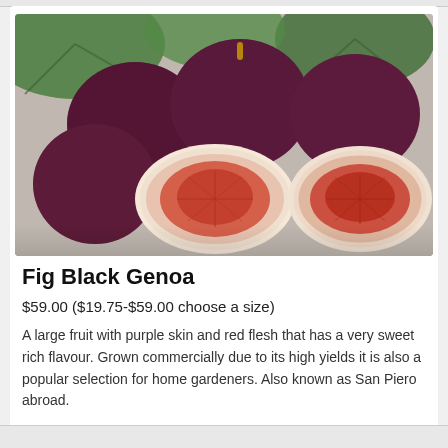[Figure (photo): Photo of Black Genoa figs — several whole dark purple figs and two figs cut in half showing red/pink interior flesh, with green fig leaves in the background.]
Fig Black Genoa
$59.00 ($19.75-$59.00 choose a size)
A large fruit with purple skin and red flesh that has a very sweet rich flavour. Grown commercially due to its high yields it is also a popular selection for home gardeners. Also known as San Piero abroad.